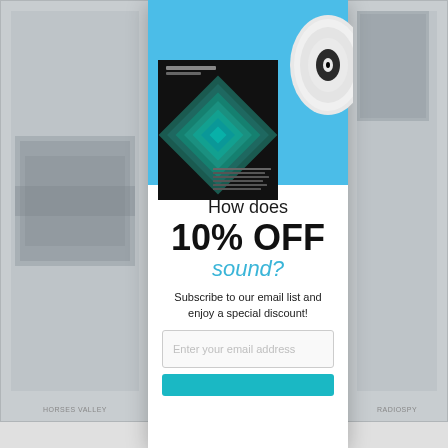[Figure (screenshot): Email subscription popup/modal for a music store. Contains an album cover image with a vinyl record, promotional text offering 10% off, and an email input field.]
How does
10% OFF
sound?
Subscribe to our email list and enjoy a special discount!
Enter your email address